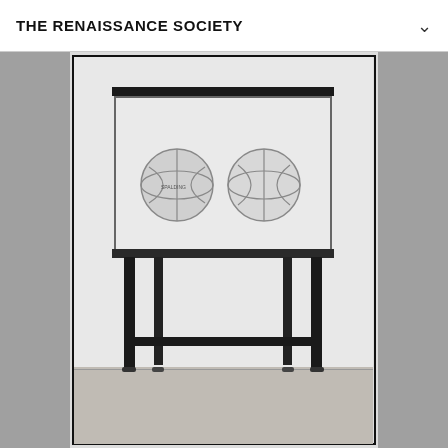THE RENAISSANCE SOCIETY
[Figure (photo): Black and white photograph of an art installation: a glass tank containing two basketballs floating in water, placed on a black metal stand. The tank sits on a black metal table/stand with legs and a crossbar. The installation is displayed against a white gallery wall with a wooden floor. The piece appears to be Jeff Koons' 'Three Ball Total Equilibrium Tank' or similar work.]